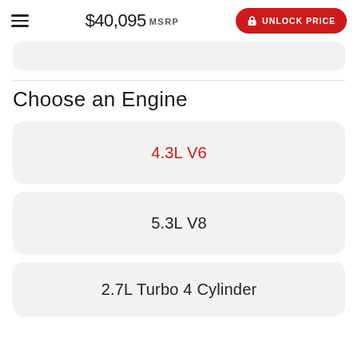$40,095 MSRP  UNLOCK PRICE
Choose an Engine
4.3L V6
5.3L V8
2.7L Turbo 4 Cylinder